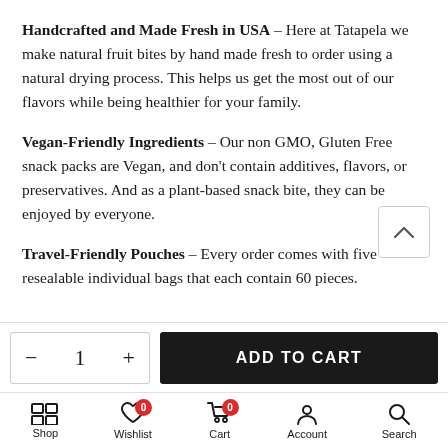Handcrafted and Made Fresh in USA – Here at Tatapela we make natural fruit bites by hand made fresh to order using a natural drying process. This helps us get the most out of our flavors while being healthier for your family.
Vegan-Friendly Ingredients – Our non GMO, Gluten Free snack packs are Vegan, and don't contain additives, flavors, or preservatives. And as a plant-based snack bite, they can be enjoyed by everyone.
Travel-Friendly Pouches – Every order comes with five resealable individual bags that each contain 60 pieces.
[Figure (screenshot): Add to cart bar with quantity selector showing minus, 1, plus and a black ADD TO CART button]
[Figure (screenshot): Bottom navigation bar with Shop, Wishlist (badge 0), Cart (badge 0), Account, Search icons]